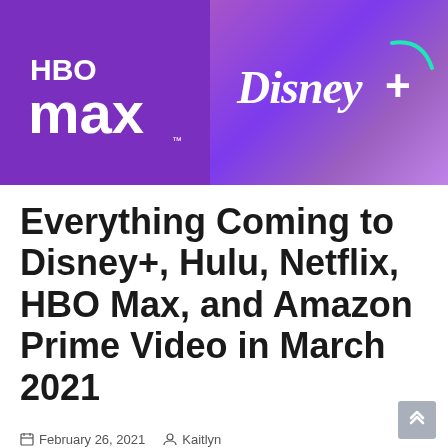[Figure (illustration): HBO Max logo on purple background (left half) and Disney+ logo on purple gradient background (right half), side by side banner image]
Everything Coming to Disney+, Hulu, Netflix, HBO Max, and Amazon Prime Video in March 2021
February 26, 2021   Kaitlyn